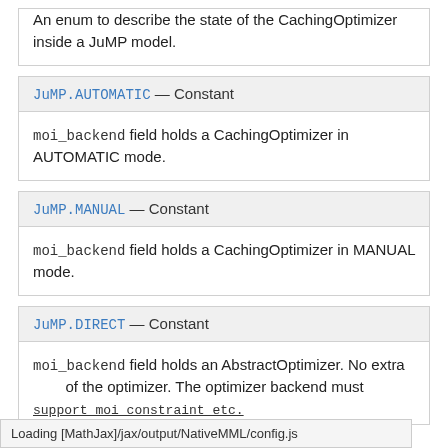An enum to describe the state of the CachingOptimizer inside a JuMP model.
JuMP.AUTOMATIC — Constant
moi_backend field holds a CachingOptimizer in AUTOMATIC mode.
JuMP.MANUAL — Constant
moi_backend field holds a CachingOptimizer in MANUAL mode.
JuMP.DIRECT — Constant
moi_backend field holds an AbstractOptimizer. No extra ...end must support moi_constraint etc.
Loading [MathJax]/jax/output/NativeMML/config.js